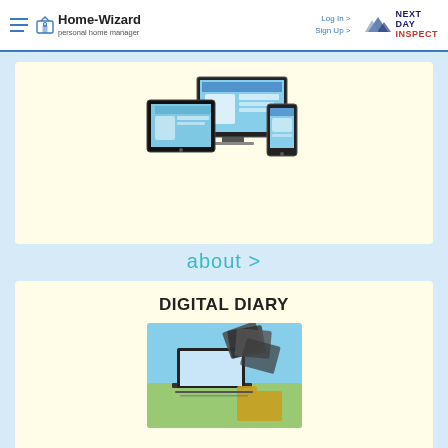Home-Wizard personal home manager | Log In > Sign Up > | NextDay Inspect
[Figure (screenshot): Screenshot of Home-Wizard app displayed on tablet, desktop monitor, and smartphone]
about >
DIGITAL DIARY
[Figure (illustration): Illustration of laptops and folders flying in a digital environment]